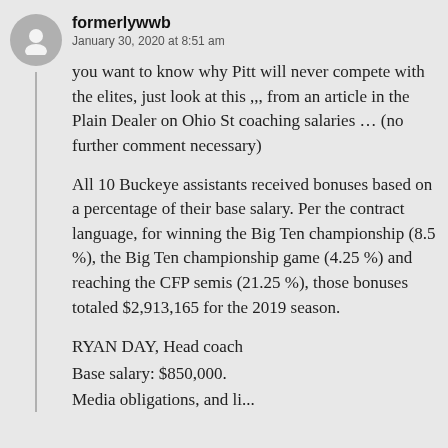formerlywwb
January 30, 2020 at 8:51 am
you want to know why Pitt will never compete with the elites, just look at this ,,, from an article in the Plain Dealer on Ohio St coaching salaries … (no further comment necessary)
All 10 Buckeye assistants received bonuses based on a percentage of their base salary. Per the contract language, for winning the Big Ten championship (8.5 %), the Big Ten championship game (4.25 %) and reaching the CFP semis (21.25 %), those bonuses totaled $2,913,165 for the 2019 season.
RYAN DAY, Head coach
Base salary: $850,000.
Media obligations, and li...